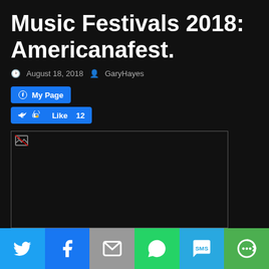Music Festivals 2018: Americanafest.
August 18, 2018   GaryHayes
[Figure (screenshot): Facebook social plugin buttons: My Page button and Like 12 button]
[Figure (photo): Broken/unloaded image placeholder]
This is one of the festival articles that I put out, that will be constantly updating all month. There is just too much information to be able to publish
[Figure (infographic): Social share bar with Twitter, Facebook, Email, WhatsApp, SMS, and More buttons]